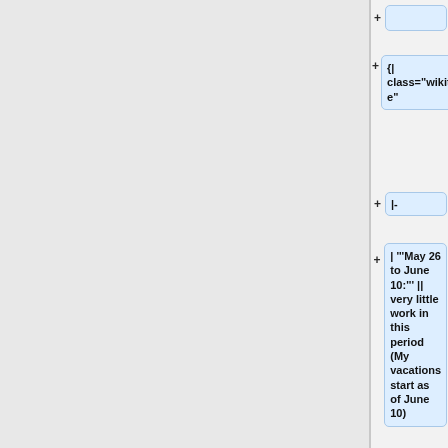[Figure (screenshot): Wiki editor diff view showing code blocks with + markers. Blocks contain: empty box, '{| class="wikitable"', '|-', '| '''May 26 to June 10:''' || very little work in this period (My vacations start as of June 10)', 'Basically spec reading and current UPnP code hacking.', '|-', '| '''June 10 to']
+
{|
class="wikitable"
|-
| '''May 26 to June 10:''' || very little work in this period (My vacations start as of June 10)
Basically spec reading and current UPnP code hacking.
|-
| '''June 10 to